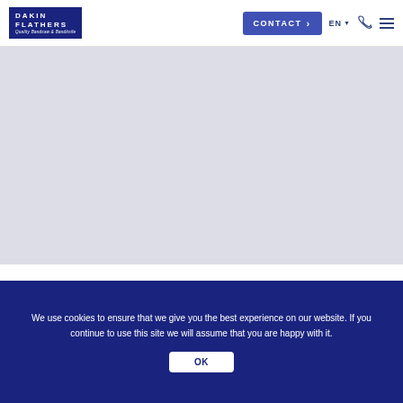DAKIN FLATHERS - Quality Bandsaw & Bandknife - CONTACT - EN - [phone icon] [menu icon]
[Figure (other): Light lavender/blue-grey hero image area, mostly empty background]
We use cookies to ensure that we give you the best experience on our website. If you continue to use this site we will assume that you are happy with it.
OK